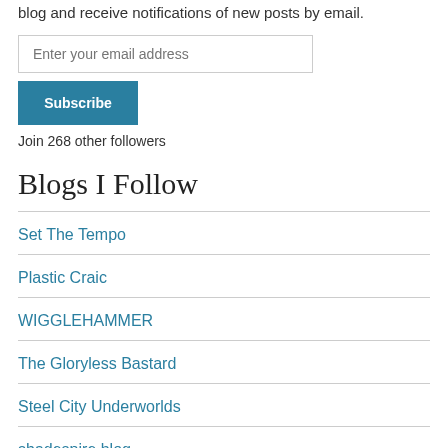blog and receive notifications of new posts by email.
Enter your email address
Subscribe
Join 268 other followers
Blogs I Follow
Set The Tempo
Plastic Craic
WIGGLEHAMMER
The Gloryless Bastard
Steel City Underworlds
shadespire.blog